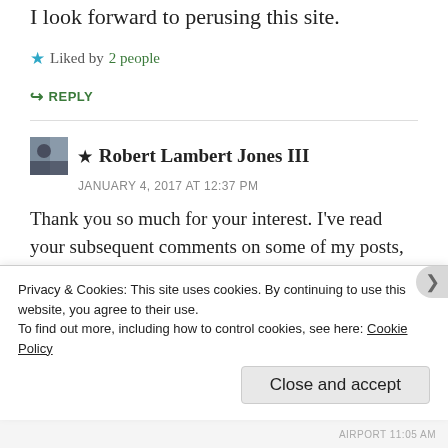I look forward to perusing this site.
★ Liked by 2 people
↪ REPLY
★ Robert Lambert Jones III
JANUARY 4, 2017 AT 12:37 PM
Thank you so much for your interest. I've read your subsequent comments on some of my posts, and they are substantial. Welcome aboard.
★ Liked by 2 people
Privacy & Cookies: This site uses cookies. By continuing to use this website, you agree to their use. To find out more, including how to control cookies, see here: Cookie Policy
Close and accept